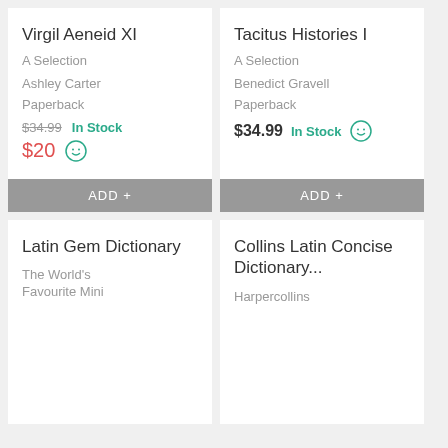Virgil Aeneid XI
A Selection
Ashley Carter
Paperback
$34.99  In Stock  $20
ADD +
Tacitus Histories I
A Selection
Benedict Gravell
Paperback
$34.99  In Stock
ADD +
Latin Gem Dictionary
The World's Favourite Mini
Collins Latin Concise Dictionary...
Harpercollins